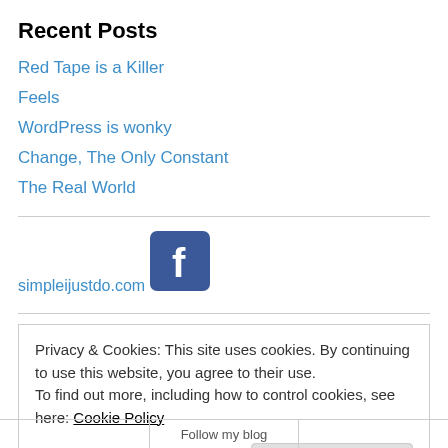Recent Posts
Red Tape is a Killer
Feels
WordPress is wonky
Change, The Only Constant
The Real World
simpleijustdo.com
[Figure (logo): Facebook logo icon — blue square with white letter f]
Privacy & Cookies: This site uses cookies. By continuing to use this website, you agree to their use. To find out more, including how to control cookies, see here: Cookie Policy
Follow my blog